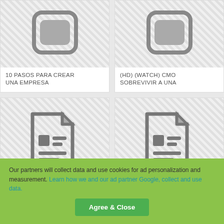[Figure (illustration): Document/card icon (top left) - rounded rectangle with hatched background]
10 PASOS PARA CREAR UNA EMPRESA
[Figure (illustration): Document/card icon (top right) - rounded rectangle with hatched background]
(HD) (WATCH) CMO SOBREVIVIR A UNA
[Figure (illustration): Document icon (bottom left) - file with lines/text blocks]
[Figure (illustration): Document icon (bottom right) - file with lines/text blocks]
Our partners will collect data and use cookies for ad personalization and measurement. Learn how we and our ad partner Google, collect and use data.
Agree & Close